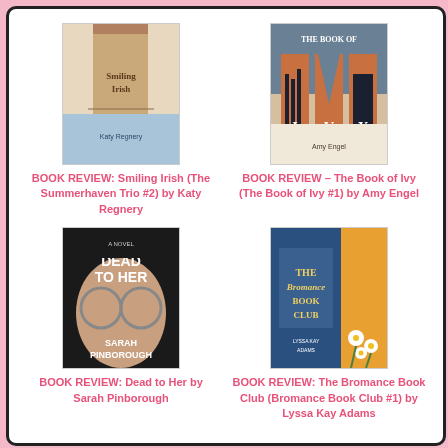[Figure (illustration): Book cover for Smiling Irish (The Summerhaven Trio #2) by Katy Regnery]
BOOK REVIEW: Smiling Irish (The Summerhaven Trio #2) by Katy Regnery
[Figure (illustration): Book cover for The Book of Ivy (The Book of Ivy #1) by Amy Engel, showing city skyline letters I, V, Y]
BOOK REVIEW – The Book of Ivy (The Book of Ivy #1) by Amy Engel
[Figure (illustration): Book cover for Dead to Her by Sarah Pinborough, dark atmospheric cover with face and large text]
BOOK REVIEW: Dead to Her by Sarah Pinborough
[Figure (illustration): Book cover for The Bromance Book Club (Bromance Book Club #1) by Lyssa Kay Adams, showing blue book cover with daisies]
BOOK REVIEW: The Bromance Book Club (Bromance Book Club #1) by Lyssa Kay Adams